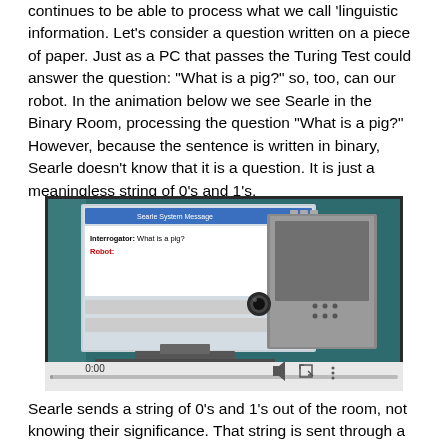continues to be able to process what we call 'linguistic information. Let's consider a question written on a piece of paper. Just as a PC that passes the Turing Test could answer the question: "What is a pig?" so, too, can our robot. In the animation below we see Searle in the Binary Room, processing the question "What is a pig?" However, because the sentence is written in binary, Searle doesn't know that it is a question. It is just a meaningless string of 0's and 1's.
[Figure (screenshot): Video player screenshot showing an animated illustration of a robot/computer setup with a chat window displaying 'Interrogator: What is a pig?' and 'Robot:' in red. The video is paused at 0:00 with playback controls visible at the bottom.]
Searle sends a string of 0's and 1's out of the room, not knowing their significance. That string is sent through a binary converter which produces an English reply "What...